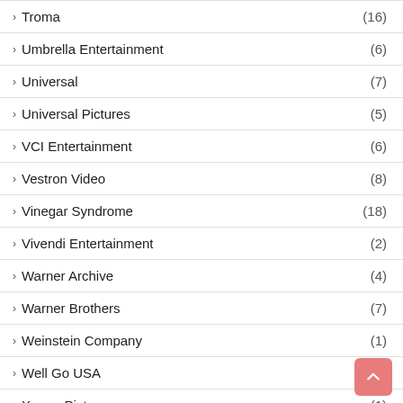Troma (16)
Umbrella Entertainment (6)
Universal (7)
Universal Pictures (5)
VCI Entertainment (6)
Vestron Video (8)
Vinegar Syndrome (18)
Vivendi Entertainment (2)
Warner Archive (4)
Warner Brothers (7)
Weinstein Company (1)
Well Go USA (10)
Xenon Pictures (1)